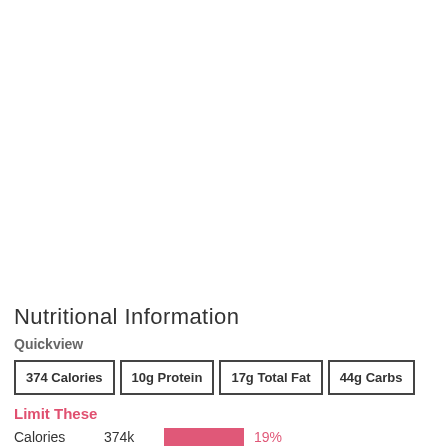Nutritional Information
Quickview
| 374 Calories | 10g Protein | 17g Total Fat | 44g Carbs |
| --- | --- | --- | --- |
Limit These
Calories   374k   19%